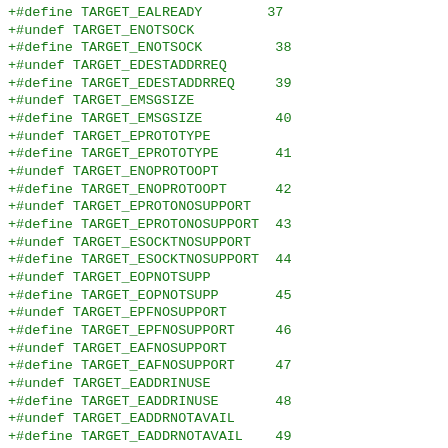+#define TARGET_EALREADY        37
+#undef TARGET_ENOTSOCK
+#define TARGET_ENOTSOCK         38
+#undef TARGET_EDESTADDRREQ
+#define TARGET_EDESTADDRREQ     39
+#undef TARGET_EMSGSIZE
+#define TARGET_EMSGSIZE         40
+#undef TARGET_EPROTOTYPE
+#define TARGET_EPROTOTYPE       41
+#undef TARGET_ENOPROTOOPT
+#define TARGET_ENOPROTOOPT      42
+#undef TARGET_EPROTONOSUPPORT
+#define TARGET_EPROTONOSUPPORT  43
+#undef TARGET_ESOCKTNOSUPPORT
+#define TARGET_ESOCKTNOSUPPORT  44
+#undef TARGET_EOPNOTSUPP
+#define TARGET_EOPNOTSUPP       45
+#undef TARGET_EPFNOSUPPORT
+#define TARGET_EPFNOSUPPORT     46
+#undef TARGET_EAFNOSUPPORT
+#define TARGET_EAFNOSUPPORT     47
+#undef TARGET_EADDRINUSE
+#define TARGET_EADDRINUSE       48
+#undef TARGET_EADDRNOTAVAIL
+#define TARGET_EADDRNOTAVAIL    49
+#undef TARGET_ENETDOWN
+#define TARGET_ENETDOWN         50
+#undef TARGET_ENETUNREACH
+#define TARGET_ENETUNREACH      51
+#undef TARGET_ENETRESET